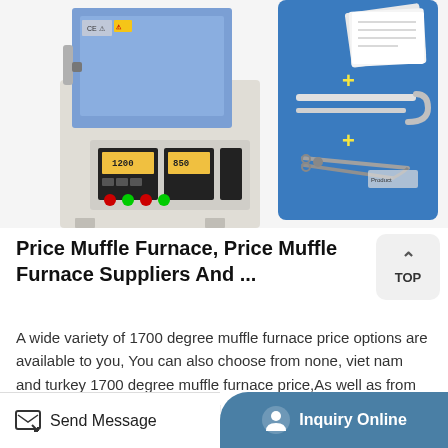[Figure (photo): Muffle furnace with blue chamber and control panel at bottom, alongside accessories including heating elements and tongs on blue background]
Price Muffle Furnace, Price Muffle Furnace Suppliers And ...
A wide variety of 1700 degree muffle furnace price options are available to you, You can also choose from none, viet nam and turkey 1700 degree muffle furnace price,As well as from easy to operate, energy saving 1700 degree muffle furnace price.And whether 1700 degree
Send Message  |  Inquiry Online